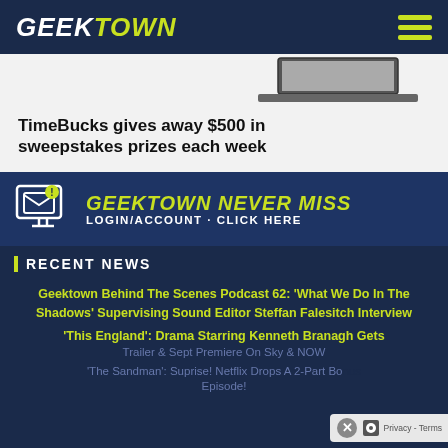GEEKTOWN
[Figure (screenshot): Advertisement banner: laptop image with text 'TimeBucks gives away $500 in sweepstakes prizes each week']
[Figure (infographic): Geektown Never Miss banner with monitor icon showing LOGIN/ACCOUNT · CLICK HERE]
RECENT NEWS
Geektown Behind The Scenes Podcast 62: 'What We Do In The Shadows' Supervising Sound Editor Steffan Falesitch Interview
'This England': Drama Starring Kenneth Branagh Gets Trailer & Sept Premiere On Sky & NOW
'The Sandman': Suprise! Netflix Drops A 2-Part Bonus Episode!